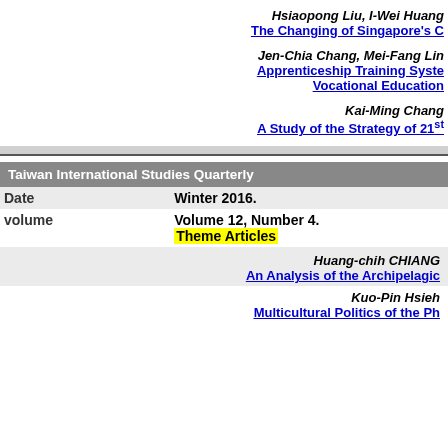Hsiaopong Liu, I-Wei Huang
The Changing of Singapore's C
Jen-Chia Chang, Mei-Fang Lin
Apprenticeship Training Syste Vocational Education
Kai-Ming Chang
A Study of the Strategy of 21st
| Taiwan International Studies Quarterly |  |
| Date | Winter 2016. |
| volume | Volume 12, Number 4.
Theme Articles |
|  | Huang-chih CHIANG
An Analysis of the Archipelagic |
|  | Kuo-Pin Hsieh
Multicultural Politics of the Ph |